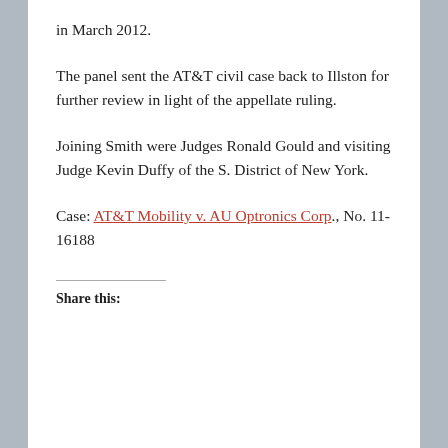in March 2012.
The panel sent the AT&T civil case back to Illston for further review in light of the appellate ruling.
Joining Smith were Judges Ronald Gould and visiting Judge Kevin Duffy of the S. District of New York.
Case: AT&T Mobility v. AU Optronics Corp., No. 11-16188
Share this: